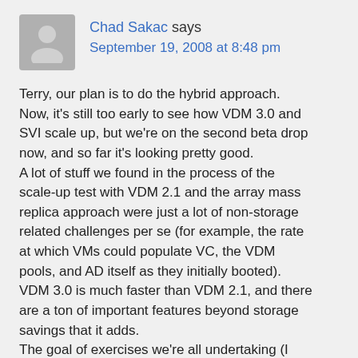[Figure (illustration): Gray avatar silhouette icon representing a user profile photo]
Chad Sakac says
September 19, 2008 at 8:48 pm
Terry, our plan is to do the hybrid approach. Now, it's still too early to see how VDM 3.0 and SVI scale up, but we're on the second beta drop now, and so far it's looking pretty good. A lot of stuff we found in the process of the scale-up test with VDM 2.1 and the array mass replica approach were just a lot of non-storage related challenges per se (for example, the rate at which VMs could populate VC, the VDM pools, and AD itself as they initially booted). VDM 3.0 is much faster than VDM 2.1, and there are a ton of important features beyond storage savings that it adds. The goal of exercises we're all undertaking (I